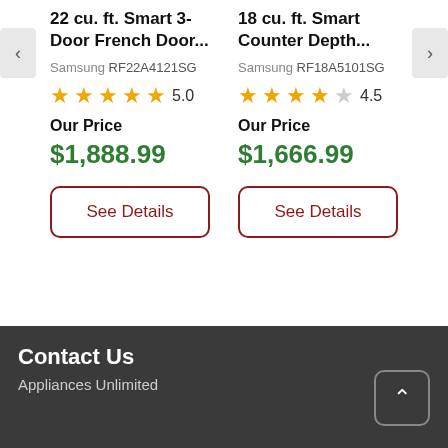22 cu. ft. Smart 3-Door French Door...
Samsung RF22A4121SG
5.0
Our Price
$1,888.99
See Details
18 cu. ft. Smart Counter Depth...
Samsung RF18A5101SG
4.5
Our Price
$1,666.99
See Details
Contact Us
Appliances Unlimited